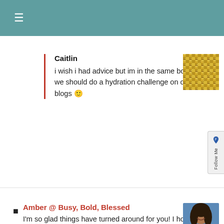≡
Caitlin
i wish i had advice but im in the same boat!!!! we should do a hydration challenge on our blogs 🙂
Amber @ Busy, Bold, Blessed
I'm so glad things have turned around for you! I hope you're healing from everything. I'm flying into Charlotte tomorrow!!!! I've never been to North Caroline, I'm so excited 🙂